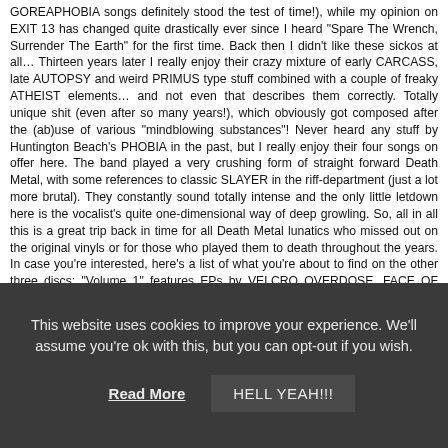GOREAPHOBIA songs definitely stood the test of time!), while my opinion on EXIT 13 has changed quite drastically ever since I heard "Spare The Wrench, Surrender The Earth" for the first time. Back then I didn't like these sickos at all… Thirteen years later I really enjoy their crazy mixture of early CARCASS, late AUTOPSY and weird PRIMUS type stuff combined with a couple of freaky ATHEIST elements… and not even that describes them correctly. Totally unique shit (even after so many years!), which obviously got composed after the (ab)use of various "mindblowing substances"! Never heard any stuff by Huntington Beach's PHOBIA in the past, but I really enjoy their four songs on offer here. The band played a very crushing form of straight forward Death Metal, with some references to classic SLAYER in the riff-department (just a lot more brutal). They constantly sound totally intense and the only little letdown here is the vocalist's quite one-dimensional way of deep growling. So, all in all this is a great trip back in time for all Death Metal lunatics who missed out on the original vinyls or for those who played them to death throughout the years. In case you're interested, here's a list of what you're about to find on the other three discs: "Volume 1" features EPs by VELCRO OVERDOSE, FACE OF DECLINE (both of them totally unknown to me), APPARITION's "Eternally Forgotten" (later to become SORROW, one album on Roadrunner Records) and INCANTATION's classic "Entrantment Of Evil" 7". "Volume 2" has DECEASED's "Gut Wrench", GENERAL SURGERY's "Necrology", DESTROY's "Total Fucking Chaos" and DISRUPT's "Refuse Planet", while
This website uses cookies to improve your experience. We'll assume you're ok with this, but you can opt-out if you wish.
Read More
HELL YEAH!!!